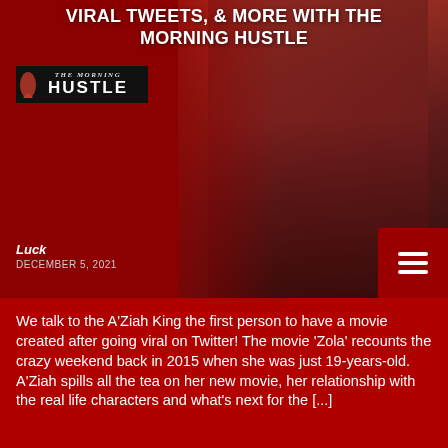VIRAL TWEETS, & MORE WITH THE MORNING HUSTLE
[Figure (photo): Hero image with The Morning Hustle logo on a red background, with a woman in red attire on the right side]
Luck
DECEMBER 5, 2021
We talk to the A'Ziah King the first person to have a movie created after going viral on Twitter! The movie 'Zola' recounts the crazy weekend back in 2015 when she was just 19-years-old. A'Ziah spills all the tea on her new movie, her relationship with the real life characters and what's next for the [...]
THE MORNING HUSTLE   0 ♡
🔍